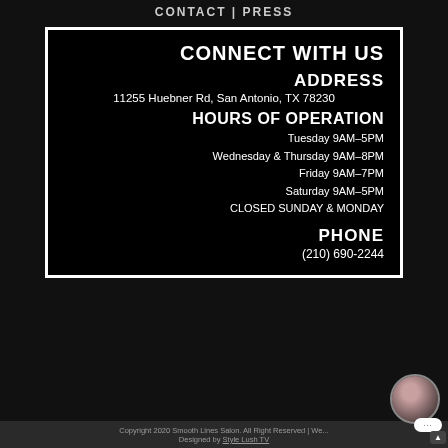CONTACT | PRESS
CONNECT WITH US
ADDRESS
11255 Huebner Rd, San Antonio, TX 78230
HOURS OF OPERATION
Tuesday 9AM–5PM
Wednesday & Thursday 9AM–8PM
Friday 9AM–7PM
Saturday 9AM–5PM
CLOSED SUNDAY & MONDAY
PHONE
(210) 690-2244
Copyright 2020 Smooth Lines Salon. All Right Reserved | Website Designed by Style Lush TV